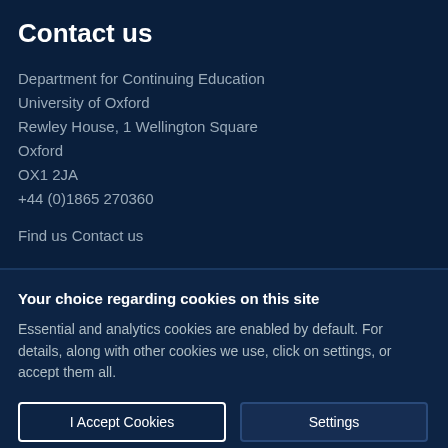Contact us
Department for Continuing Education
University of Oxford
Rewley House, 1 Wellington Square
Oxford
OX1 2JA
+44 (0)1865 270360
Find us
Contact us
Your choice regarding cookies on this site
Essential and analytics cookies are enabled by default. For details, along with other cookies we use, click on settings, or accept them all.
I Accept Cookies
Settings